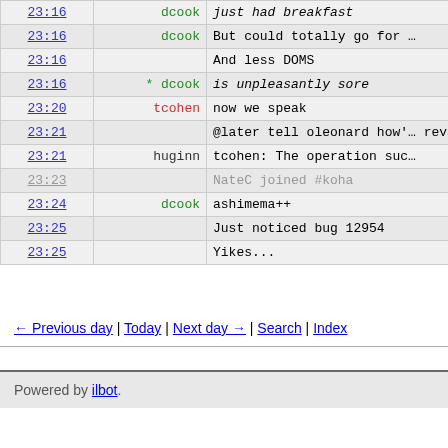| Time | Nick | Message |
| --- | --- | --- |
| 23:16 | dcook | just had breakfast |
| 23:16 | dcook | But could totally go for … |
| 23:16 |  | And less DOMS |
| 23:16 | * dcook | is unpleasantly sore |
| 23:20 | tcohen | now we speak |
| 23:21 |  | @later tell oleonard how's revamping the installer l… |
| 23:21 | huginn | tcohen: The operation suc… |
| 23:23 |  | NateC joined #koha |
| 23:24 | dcook | ashimema++ |
| 23:25 |  | Just noticed bug 12954 |
| 23:25 |  | Yikes... |
← Previous day | Today | Next day → | Search | Index
Powered by ilbot.